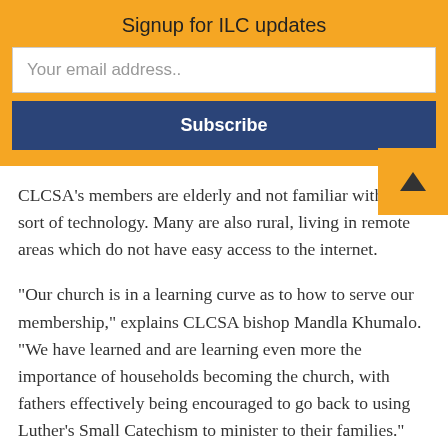Signup for ILC updates
Your email address..
Subscribe
CLCSA’s members are elderly and not familiar with this sort of technology. Many are also rural, living in remote areas which do not have easy access to the internet.
“Our church is in a learning curve as to how to serve our membership,” explains CLCSA bishop Mandla Khumalo. “We have learned and are learning even more the importance of households becoming the church, with fathers effectively being encouraged to go back to using Luther’s Small Catechism to minister to their families.” Bishop Khumalo notes especially the value of the daily services in the